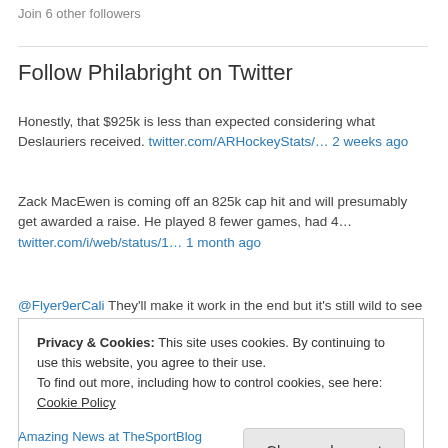Join 6 other followers
Follow Philabright on Twitter
Honestly, that $925k is less than expected considering what Deslauriers received. twitter.com/ARHockeyStats/… 2 weeks ago
Zack MacEwen is coming off an 825k cap hit and will presumably get awarded a raise. He played 8 fewer games, had 4… twitter.com/i/web/status/1… 1 month ago
@Flyer9erCali They'll make it work in the end but it's still wild to see this
Privacy & Cookies: This site uses cookies. By continuing to use this website, you agree to their use. To find out more, including how to control cookies, see here: Cookie Policy
Amazing News at TheSportBlog